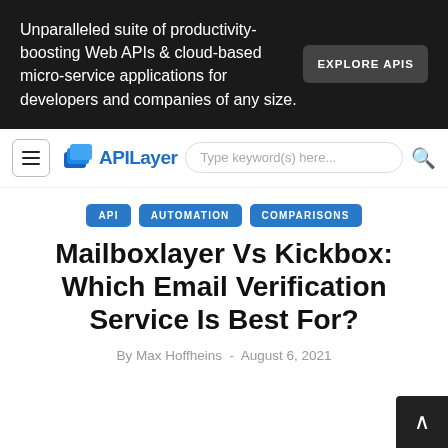Unparalleled suite of productivity-boosting Web APIs & cloud-based micro-service applications for developers and companies of any size.
EXPLORE APIS
[Figure (logo): APILayer logo with stacked pages icon and text 'APILayer']
Type keyword(s) here...
API
AUTOMATION
COMPARISONS
Mailboxlayer Vs Kickbox: Which Email Verification Service Is Best For?
By Max Hoffheins  -  August 6, 2021